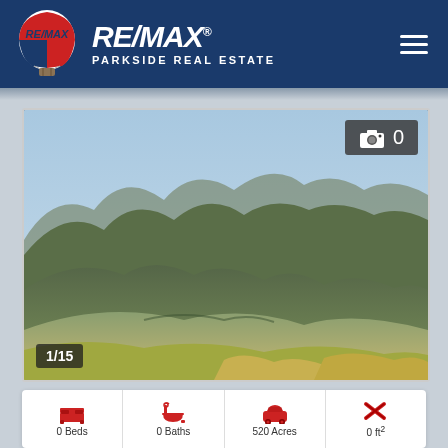[Figure (logo): RE/MAX Parkside Real Estate logo with hot air balloon and text]
[Figure (photo): Landscape photo of green rolling hills and mountains under a blue sky, showing property land. Photo counter 1/15 and camera icon with 0 overlay visible.]
0 Beds
0 Baths
520 Acres
0 ft²